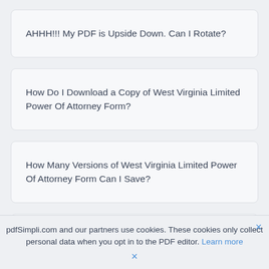AHHH!!! My PDF is Upside Down. Can I Rotate?
How Do I Download a Copy of West Virginia Limited Power Of Attorney Form?
How Many Versions of West Virginia Limited Power Of Attorney Form Can I Save?
pdfSimpli.com and our partners use cookies. These cookies only collect personal data when you opt in to the PDF editor. Learn more